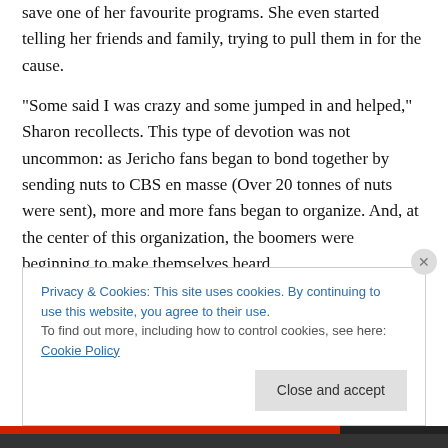save one of her favourite programs. She even started telling her friends and family, trying to pull them in for the cause.
“Some said I was crazy and some jumped in and helped,” Sharon recollects. This type of devotion was not uncommon: as Jericho fans began to bond together by sending nuts to CBS en masse (Over 20 tonnes of nuts were sent), more and more fans began to organize. And, at the center of this organization, the boomers were beginning to make themselves heard.
Privacy & Cookies: This site uses cookies. By continuing to use this website, you agree to their use.
To find out more, including how to control cookies, see here: Cookie Policy